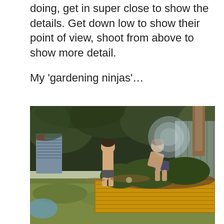doing, get in super close to show the details. Get down low to show their point of view, shoot from above to show more detail.

My 'gardening ninjas'…
[Figure (photo): Two children working in a backyard garden raised bed (corrugated metal planter), surrounded by lush green plants and trees. A lens flare/light orb is visible in the upper right. A garden shed is visible on the left. The children appear to be digging or planting.]